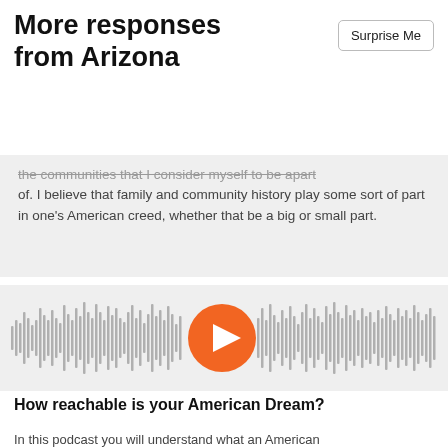More responses from Arizona
the communities that I consider myself to be apart of. I believe that family and community history play some sort of part in one's American creed, whether that be a big or small part.
[Figure (other): Audio player with waveform visualization and orange play button in the center]
How reachable is your American Dream?
In this podcast you will understand what an American Dream is and how to reach it. With our special guest giving us their perspective on their very own American dream.